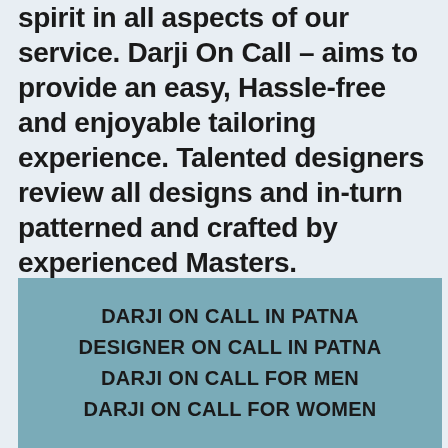We are trying to keep this spirit in all aspects of our service. Darji On Call – aims to provide an easy, Hassle-free and enjoyable tailoring experience. Talented designers review all designs and in-turn patterned and crafted by experienced Masters.
DARJI ON CALL IN PATNA
DESIGNER ON CALL IN PATNA
DARJI ON CALL FOR MEN
DARJI ON CALL FOR WOMEN